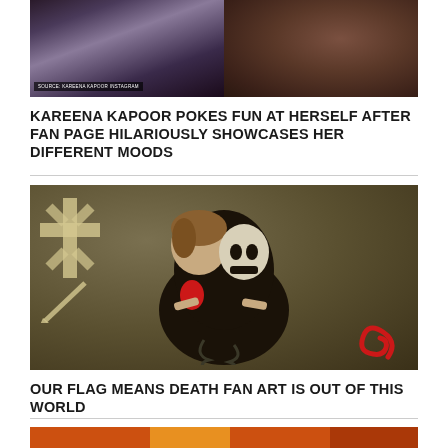[Figure (photo): Two photos side by side: left shows a woman with dark hair (Kareena Kapoor, source tag visible), right shows a person in dark clothing reclining]
KAREENA KAPOOR POKES FUN AT HERSELF AFTER FAN PAGE HILARIOUSLY SHOWCASES HER DIFFERENT MOODS
[Figure (illustration): Dark stylized fan art illustration showing two figures (one human, one skull-like) with red accents and a sun/star symbol on a tan/khaki background, related to 'Our Flag Means Death']
OUR FLAG MEANS DEATH FAN ART IS OUT OF THIS WORLD
[Figure (photo): Partial view of a third article image, orange and warm tones, cut off at bottom of page]